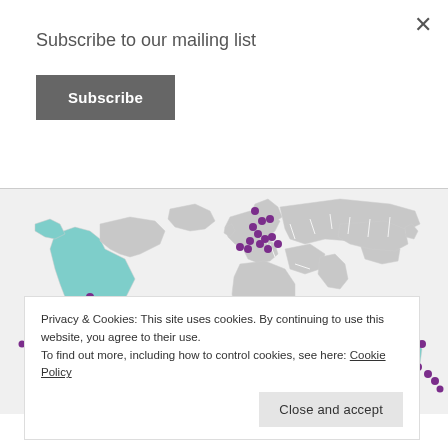Subscribe to our mailing list
Subscribe
[Figure (map): World map with highlighted regions (North America, Australia in teal/green) and purple dots marking various locations across Europe, North America, South America, and Australia.]
Privacy & Cookies: This site uses cookies. By continuing to use this website, you agree to their use. To find out more, including how to control cookies, see here: Cookie Policy
Close and accept